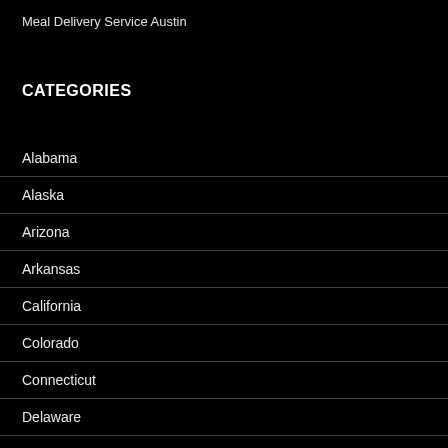Meal Delivery Service Austin
CATEGORIES
Alabama
Alaska
Arizona
Arkansas
California
Colorado
Connecticut
Delaware
Florida